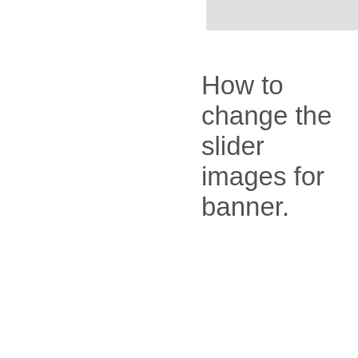[Figure (other): Gray rectangle in upper right corner]
How to change the slider images for banner.
To change the slider images in the banner locate the first div with class="large-